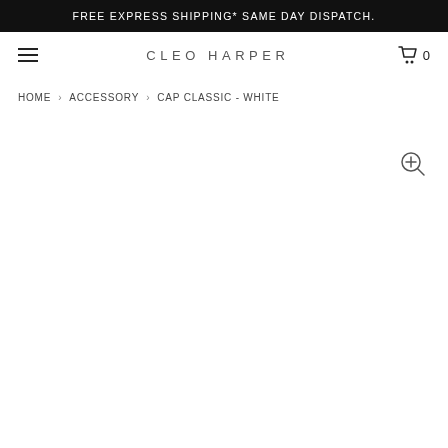FREE EXPRESS SHIPPING* SAME DAY DISPATCH.
CLEO HARPER
HOME > ACCESSORY > CAP CLASSIC - WHITE
[Figure (other): Zoom/magnify icon (magnifying glass with plus) in the product image area]